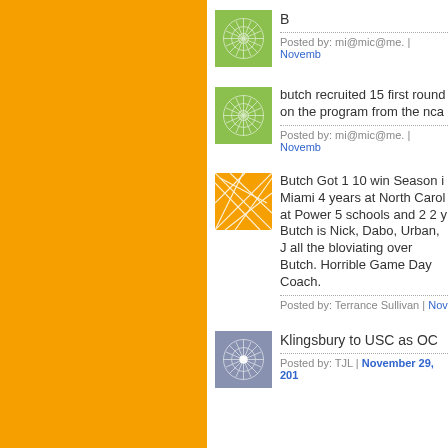[Figure (illustration): Green decorative avatar with snowflake/mandala pattern]
B
Posted by: mi@mic@me. | Novemb
[Figure (illustration): Green decorative avatar with snowflake/mandala pattern]
butch recruited 15 first round on the program from the nca
Posted by: mi@mic@me. | Novemb
[Figure (illustration): Orange decorative avatar with geometric crack pattern]
Butch Got 1 10 win Season i Miami 4 years at North Carol at Power 5 schools and 2 2 y Butch is Nick, Dabo, Urban, J all the bloviating over Butch. Horrible Game Day Coach.
Posted by: Terrance Sullivan | Nov
[Figure (illustration): Blue/slate decorative avatar with snowflake/mandala pattern]
Klingsbury to USC as OC
Posted by: TJL | November 29, 201